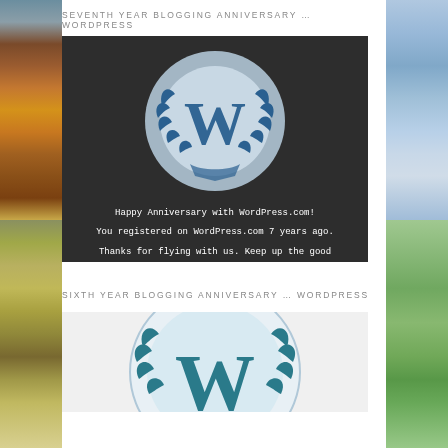SEVENTH YEAR BLOGGING ANNIVERSARY ... WORDPRESS
[Figure (illustration): Dark background WordPress anniversary badge with W logo surrounded by laurel wreath and text: Happy Anniversary with WordPress.com! You registered on WordPress.com 7 years ago. Thanks for flying with us. Keep up the good blogging.]
SIXTH YEAR BLOGGING ANNIVERSARY ... WORDPRESS
[Figure (illustration): Light gray background WordPress anniversary badge with teal W logo surrounded by laurel wreath, partially visible.]